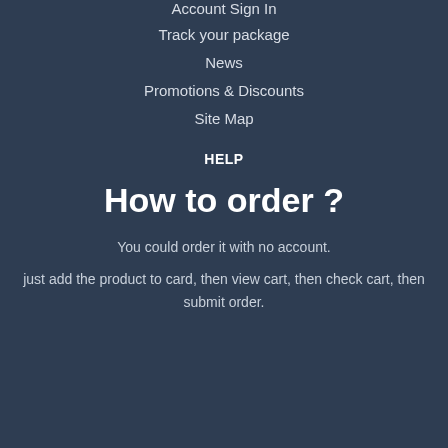Account Sign In
Track your package
News
Promotions & Discounts
Site Map
HELP
How to order ?
You could order it with no account.
just add the product to card, then view cart, then check cart, then submit order.